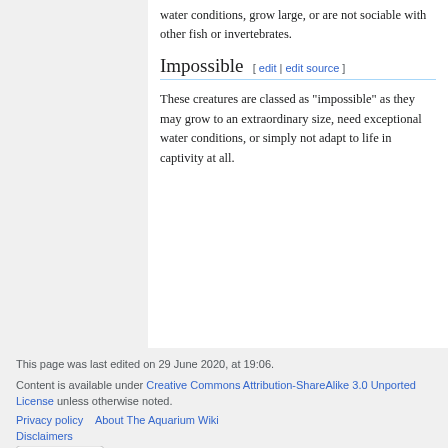water conditions, grow large, or are not sociable with other fish or invertebrates.
Impossible [ edit | edit source ]
These creatures are classed as "impossible" as they may grow to an extraordinary size, need exceptional water conditions, or simply not adapt to life in captivity at all.
This page was last edited on 29 June 2020, at 19:06.
Content is available under Creative Commons Attribution-ShareAlike 3.0 Unported License unless otherwise noted.
Privacy policy   About The Aquarium Wiki
Disclaimers
[Figure (logo): Creative Commons BY-SA license badge]